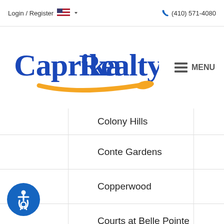Login / Register   (410) 571-4080
[Figure (logo): Caprika Realty logo in blue cursive script with yellow/orange swoosh underline]
Colony Hills
Conte Gardens
Copperwood
Courts at Belle Pointe
Crab Creek
Deep Creek Village
Dellwood
Downs on Severn